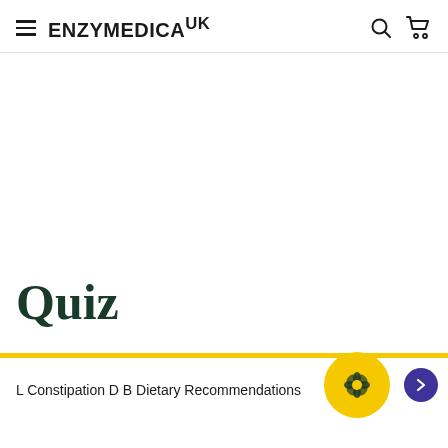ENZYMEDICA UK
Quiz
L Constipation D B Dietary Recommendations